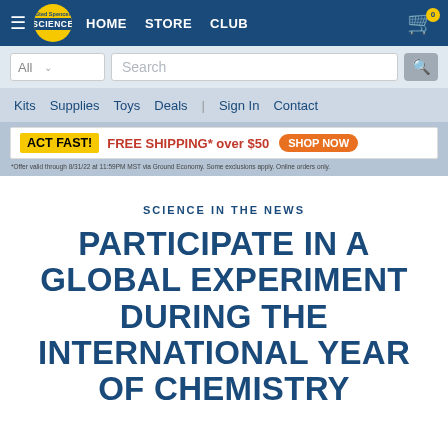≡ Sted Spencer Science | HOME  STORE  CLUB | Cart: 0
All ∨  Search 🔍
Kits  Supplies  Toys  Deals  |  Sign In  Contact
ACT FAST!  FREE SHIPPING* over $50  SHOP NOW
*Offer valid through 8/31/22 at 11:59PM MST via Ground Economy. Some exclusions apply. Online orders only.
SCIENCE IN THE NEWS
PARTICIPATE IN A GLOBAL EXPERIMENT DURING THE INTERNATIONAL YEAR OF CHEMISTRY